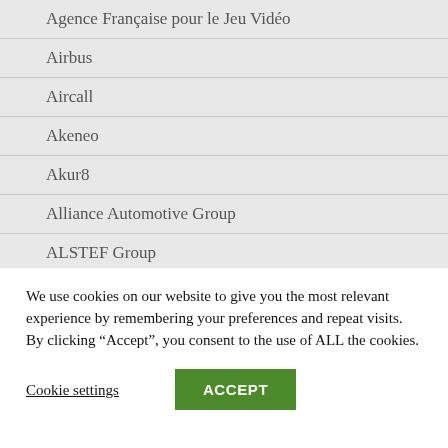Agence Française pour le Jeu Vidéo
Airbus
Aircall
Akeneo
Akur8
Alliance Automotive Group
ALSTEF Group
Amazon
Approach People Recruitment
We use cookies on our website to give you the most relevant experience by remembering your preferences and repeat visits. By clicking “Accept”, you consent to the use of ALL the cookies.
Cookie settings
ACCEPT